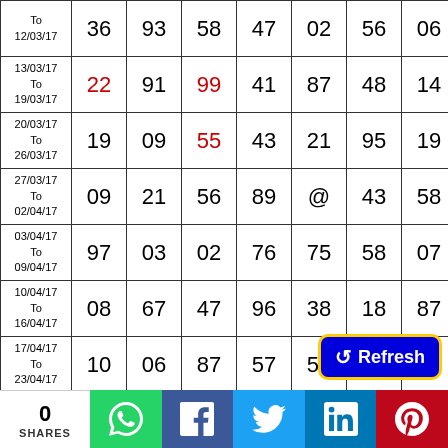| Date | N1 | N2 | N3 | N4 | N5 | N6 | N7 |
| --- | --- | --- | --- | --- | --- | --- | --- |
| To
12/03/17 | 36 | 93 | 58 | 47 | 02 | 56 | 06 |
| 13/03/17
To
19/03/17 | 22 | 91 | 99 | 41 | 87 | 48 | 14 |
| 20/03/17
To
26/03/17 | 19 | 09 | 55 | 43 | 21 | 95 | 19 |
| 27/03/17
To
02/04/17 | 09 | 21 | 56 | 89 | @ | 43 | 58 |
| 03/04/17
To
09/04/17 | 97 | 03 | 02 | 76 | 75 | 58 | 07 |
| 10/04/17
To
16/04/17 | 08 | 67 | 47 | 96 | 38 | 18 | 87 |
| 17/04/17
To
23/04/17 | 10 | 06 | 87 | 57 | 50 | 93 | 70 |
| 24/04/17 | 58 | 75 | 56 | 52 | 56 | 98 | @ |
0 SHARES
[Figure (other): Refresh button overlay in blue with yellow border]
[Figure (other): Social share bar: WhatsApp (green), Facebook (blue), Twitter (light blue), LinkedIn (dark blue), Pinterest (red)]